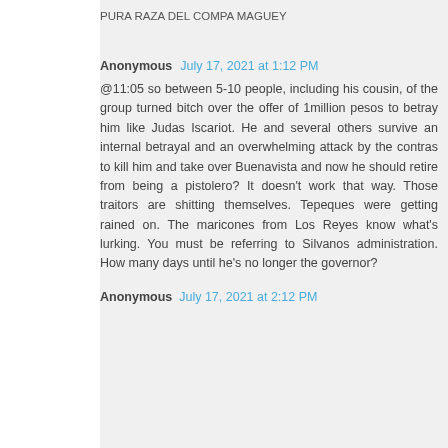PURA RAZA DEL COMPA MAGUEY
Anonymous July 17, 2021 at 1:12 PM
@11:05 so between 5-10 people, including his cousin, of the group turned bitch over the offer of 1million pesos to betray him like Judas Iscariot. He and several others survive an internal betrayal and an overwhelming attack by the contras to kill him and take over Buenavista and now he should retire from being a pistolero? It doesn't work that way. Those traitors are shitting themselves. Tepeques were getting rained on. The maricones from Los Reyes know what's lurking. You must be referring to Silvanos administration. How many days until he's no longer the governor?
Anonymous July 17, 2021 at 2:12 PM